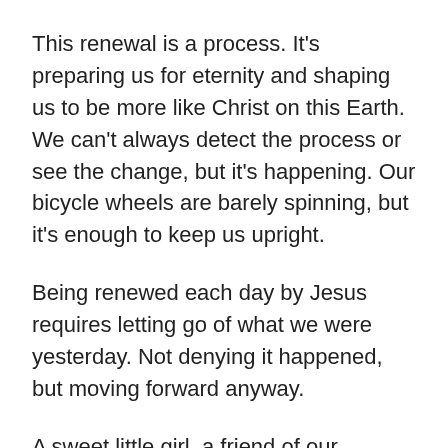This renewal is a process. It's preparing us for eternity and shaping us to be more like Christ on this Earth. We can't always detect the process or see the change, but it's happening. Our bicycle wheels are barely spinning, but it's enough to keep us upright.
Being renewed each day by Jesus requires letting go of what we were yesterday. Not denying it happened, but moving forward anyway.
A sweet little girl, a friend of our daughters, was learning to water ski last summer. I sat in the boat with my girls and our friends, who were driving and shouting out instructions to the little girl. My husband was in the water trying to help her get her